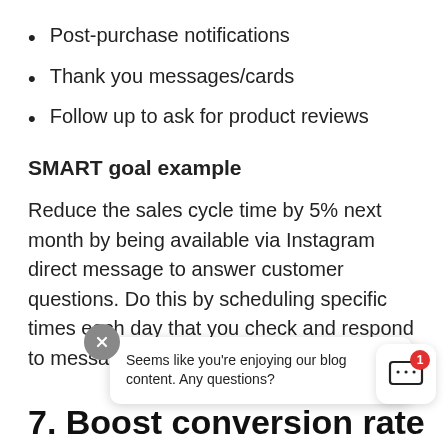Post-purchase notifications
Thank you messages/cards
Follow up to ask for product reviews
SMART goal example
Reduce the sales cycle time by 5% next month by being available via Instagram direct message to answer customer questions. Do this by scheduling specific times each day that you check and respond to messages.
Seems like you're enjoying our blog content. Any questions?
7. Boost conversion rate